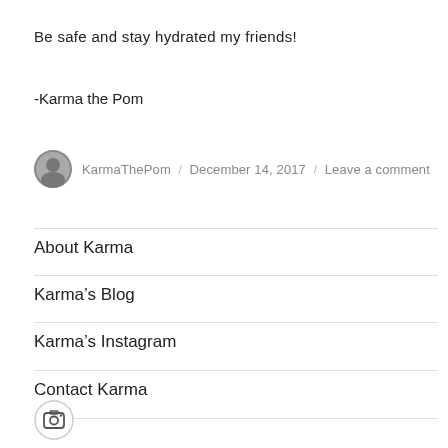Be safe and stay hydrated my friends!
-Karma the Pom
KarmaThePom / December 14, 2017 / Leave a comment
About Karma
Karma's Blog
Karma's Instagram
Contact Karma
[Figure (illustration): Instagram camera icon in a circle at the bottom left]